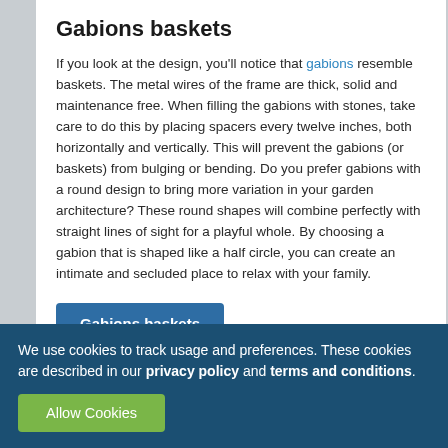Gabions baskets
If you look at the design, you'll notice that gabions resemble baskets. The metal wires of the frame are thick, solid and maintenance free. When filling the gabions with stones, take care to do this by placing spacers every twelve inches, both horizontally and vertically. This will prevent the gabions (or baskets) from bulging or bending. Do you prefer gabions with a round design to bring more variation in your garden architecture? These round shapes will combine perfectly with straight lines of sight for a playful whole. By choosing a gabion that is shaped like a half circle, you can create an intimate and secluded place to relax with your family.
Gabions baskets
We use cookies to track usage and preferences. These cookies are described in our privacy policy and terms and conditions.
Allow Cookies